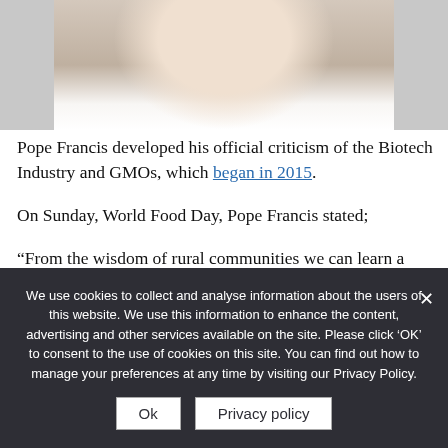[Figure (photo): Partial photo of Pope Francis smiling, cropped showing face and white vestments/collar at bottom]
Pope Francis developed his official criticism of the Biotech Industry and GMOs, which began in 2015.
On Sunday, World Food Day, Pope Francis stated;
“From the wisdom of rural communities we can learn a style of life that can help defend us from the logic of consumerism
We use cookies to collect and analyse information about the users of this website. We use this information to enhance the content, advertising and other services available on the site. Please click ‘OK’ to consent to the use of cookies on this site. You can find out how to manage your preferences at any time by visiting our Privacy Policy.